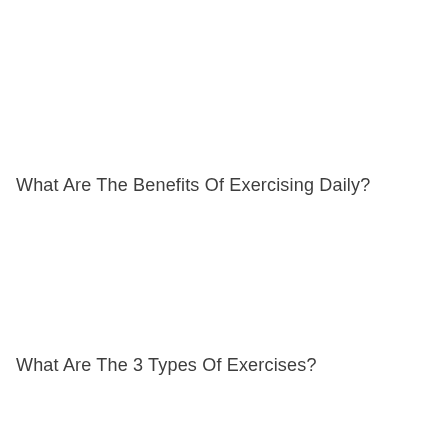What Are The Benefits Of Exercising Daily?
What Are The 3 Types Of Exercises?